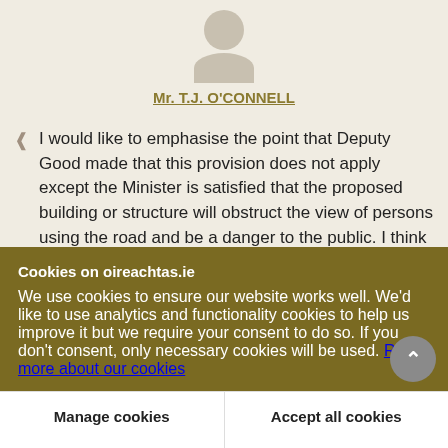[Figure (illustration): Greyed-out avatar placeholder showing a circle for head and a rounded top shape for body/shoulders, representing a person without a photo.]
Mr. T.J. O'CONNELL
I would like to emphasise the point that Deputy Good made that this provision does not apply except the Minister is satisfied that the proposed building or structure will obstruct the view of persons using the road and be a danger to the public. I think
Cookies on oireachtas.ie
We use cookies to ensure our website works well. We'd like to use analytics and functionality cookies to help us improve it but we require your consent to do so. If you don't consent, only necessary cookies will be used. Read more about our cookies
Manage cookies
Accept all cookies